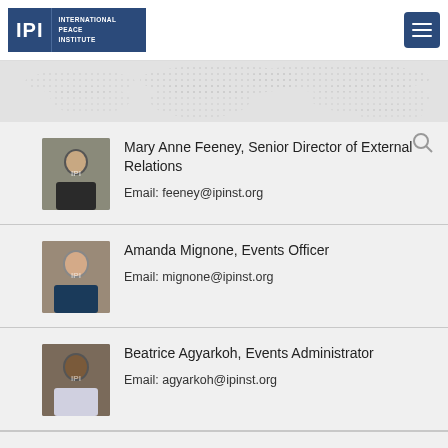[Figure (logo): IPI International Peace Institute logo - dark blue rectangle with IPI text and institute name]
[Figure (infographic): World map dotted pattern background in light gray]
Mary Anne Feeney, Senior Director of External Relations
Email: feeney@ipinst.org
Amanda Mignone, Events Officer
Email: mignone@ipinst.org
Beatrice Agyarkoh, Events Administrator
Email: agyarkoh@ipinst.org